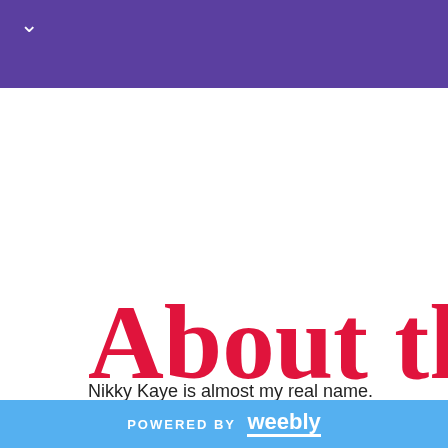✓
About the A
Nikky Kaye is almost my real name. I'm a former Film professor who likes more than her movies to be black
POWERED BY weebly